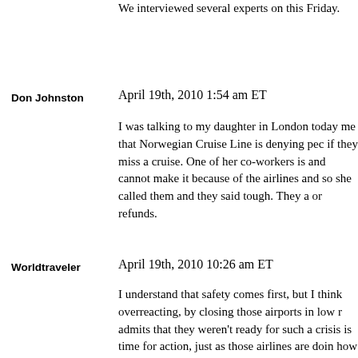We interviewed several experts on this Friday.
Don Johnston
April 19th, 2010 1:54 am ET
I was talking to my daughter in London today me that Norwegian Cruise Line is denying peo if they miss a cruise. One of her co-workers is and cannot make it because of the airlines and so she called them and they said tough. They a or refunds.
Worldtraveler
April 19th, 2010 10:26 am ET
I understand that safety comes first, but I think overreacting, by closing those airports in low r admits that they weren't ready for such a crisis is time for action, just as those airlines are doin how to deal with it and put it into action. – open airspace in those countries in low risk a – allow European flights to cities in the south e passengers can travel overseas again – make train – plane connections more visible – communication towards the public